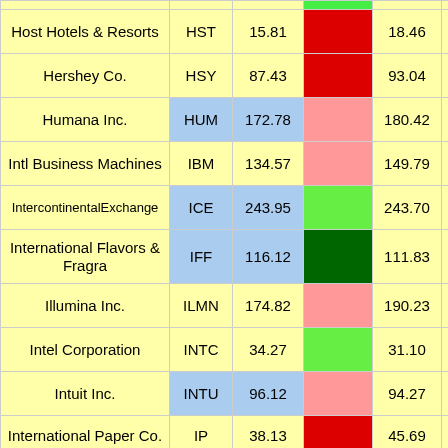| Company | Ticker | Price | Bar | Ref | % Change |
| --- | --- | --- | --- | --- | --- |
| Host Hotels & Resorts | HST | 15.81 |  | 18.46 | -3.66 ▼ |
| Hershey Co. | HSY | 87.43 |  | 93.04 | -4.34 ▼ |
| Humana Inc. | HUM | 172.78 |  | 180.42 | -2.82 ▲ |
| Intl Business Machines | IBM | 134.57 |  | 149.79 | -5.06 ▲ |
| IntercontinentalExchange | ICE | 243.95 |  | 243.70 | 5.55 ▼ |
| International Flavors & Fragra | IFF | 116.12 |  | 111.83 | 3.99 ▲ |
| Illumina Inc. | ILMN | 174.82 |  | 190.23 | -1.97 ▲ |
| Intel Corporation | INTC | 34.27 |  | 31.10 | 6.12 ▼ |
| Intuit Inc. | INTU | 96.12 |  | 94.27 | 3.03 ▼ |
| International Paper Co. | IP | 38.13 |  | 45.69 | -3.39 |